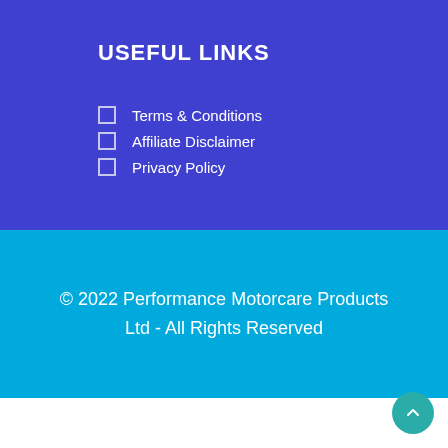USEFUL LINKS
Terms & Conditions
Affiliate Disclaimer
Privacy Policy
© 2022 Performance Motorcare Products Ltd - All Rights Reserved